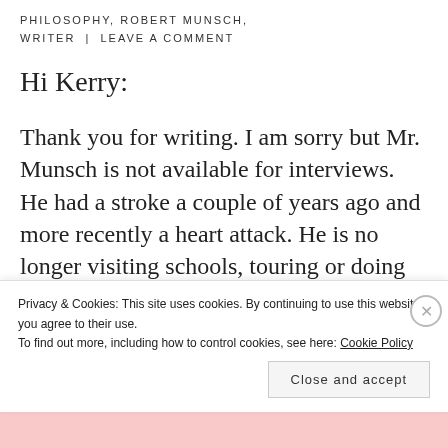PHILOSOPHY, ROBERT MUNSCH, WRITER | LEAVE A COMMENT
Hi Kerry:
Thank you for writing. I am sorry but Mr. Munsch is not available for interviews. He had a stroke a couple of years ago and more recently a heart attack. He is no longer visiting schools, touring or doing interviews. He
Privacy & Cookies: This site uses cookies. By continuing to use this website, you agree to their use. To find out more, including how to control cookies, see here: Cookie Policy
Close and accept